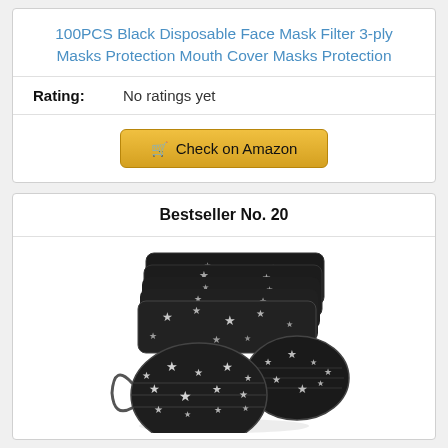100PCS Black Disposable Face Mask Filter 3-ply Masks Protection Mouth Cover Masks Protection
Rating: No ratings yet
Check on Amazon
Bestseller No. 20
[Figure (photo): Stack of black disposable face masks with white star pattern, shown from the side and front, with ear loops visible.]